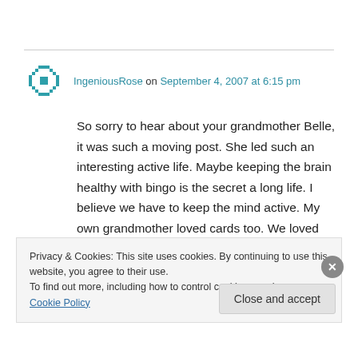IngeniousRose on September 4, 2007 at 6:15 pm
So sorry to hear about your grandmother Belle, it was such a moving post. She led such an interesting active life. Maybe keeping the brain healthy with bingo is the secret a long life. I believe we have to keep the mind active. My own grandmother loved cards too. We loved playing with her. There is a lot to be said for
Privacy & Cookies: This site uses cookies. By continuing to use this website, you agree to their use.
To find out more, including how to control cookies, see here: Cookie Policy
Close and accept